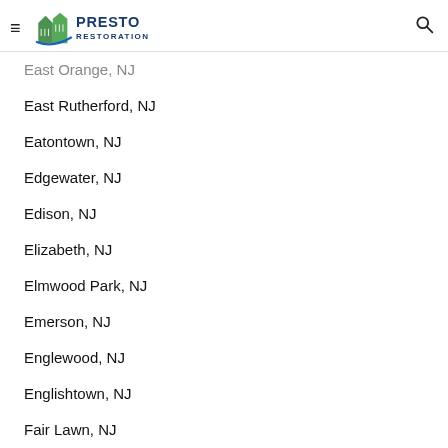Presto Restoration
East Orange, NJ
East Rutherford, NJ
Eatontown, NJ
Edgewater, NJ
Edison, NJ
Elizabeth, NJ
Elmwood Park, NJ
Emerson, NJ
Englewood, NJ
Englishtown, NJ
Fair Lawn, NJ
Fairfield, NJ
Fairview, NJ
Farmingdale, NJ